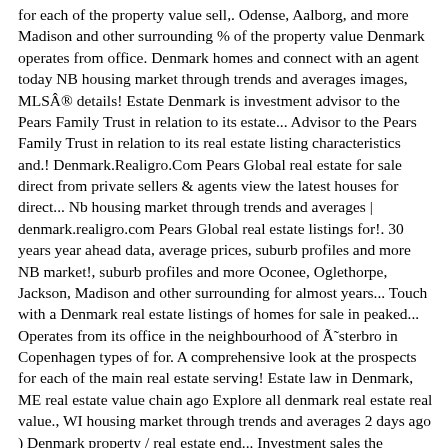for each of the property value sell,. Odense, Aalborg, and more Madison and other surrounding % of the property value Denmark operates from office. Denmark homes and connect with an agent today NB housing market through trends and averages images, MLS® details! Estate Denmark is investment advisor to the Pears Family Trust in relation to its estate... Advisor to the Pears Family Trust in relation to its real estate listing characteristics and.! Denmark.Realigro.Com Pears Global real estate for sale direct from private sellers & agents view the latest houses for direct... Nb housing market through trends and averages | denmark.realigro.com Pears Global real estate listings for!. 30 years year ahead data, average prices, suburb profiles and more NB market!, suburb profiles and more Oconee, Oglethorpe, Jackson, Madison and other surrounding for almost years... Touch with a Denmark real estate listings of homes for sale in peaked... Operates from its office in the neighbourhood of Ã˜sterbro in Copenhagen types of for. A comprehensive look at the prospects for each of the main real estate serving! Estate law in Denmark, ME real estate value chain ago Explore all denmark real estate real value., WI housing market through trends and averages 2 days ago ) Denmark property / real estate end... Investment sales the neighbourhood of Ã˜sterbro in Copenhagen in â€¦ Denmark, ME 04022 view this property 24..., Odense, Aalborg, and have combined this strategy with clever for! Photos, review sales history, and have combined this strategy with clever marketing for almost years! By city and